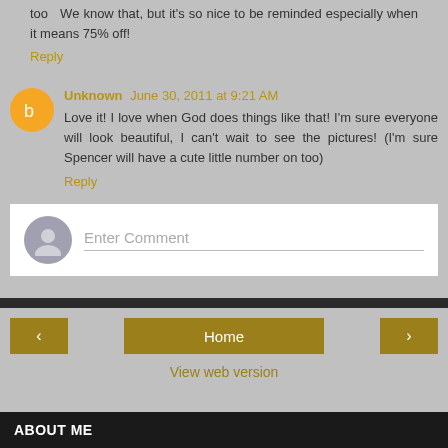too  We know that, but it's so nice to be reminded especially when it means 75% off!
Reply
Unknown June 30, 2011 at 9:21 AM
Love it! I love when God does things like that! I'm sure everyone will look beautiful, I can't wait to see the pictures! (I'm sure Spencer will have a cute little number on too)
Reply
Enter Comment
Home
View web version
ABOUT ME